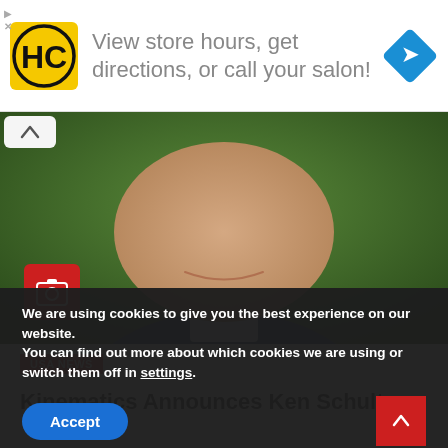[Figure (screenshot): Advertisement banner with HC logo, text 'View store hours, get directions, or call your salon!' and blue navigation arrow icon]
[Figure (photo): Close-up photo of a man's face and upper body wearing a navy blue suit jacket and collared shirt, with green blurred background. Overlaid camera icon button and up-arrow button.]
USA NEWS
Kinematics Announces Ken Schultz
We are using cookies to give you the best experience on our website.
You can find out more about which cookies we are using or switch them off in settings.
Accept